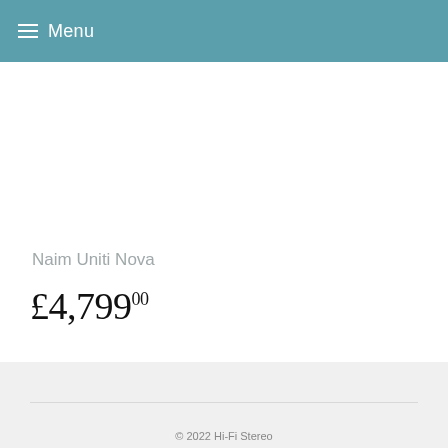≡ Menu
Naim Uniti Nova
£4,79900
© 2022 Hi-Fi Stereo